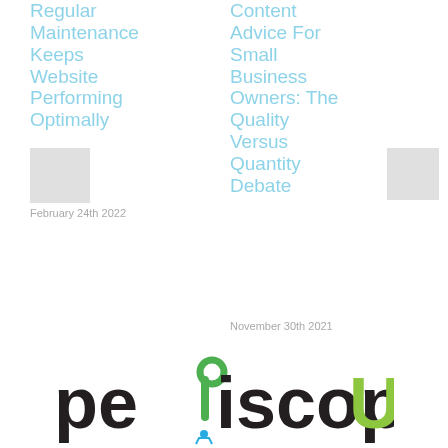Regular Maintenance Keeps Website Performing Optimally
February 24th 2022
[Figure (photo): Small thumbnail image placeholder, left article]
Content Advice For Small Business Owners: The Quality Versus Quantity Debate
[Figure (photo): Small thumbnail image placeholder, right article]
November 30th 2021
[Figure (logo): PeriscopeUP logo — lowercase text with periscope icon, black and green colors]